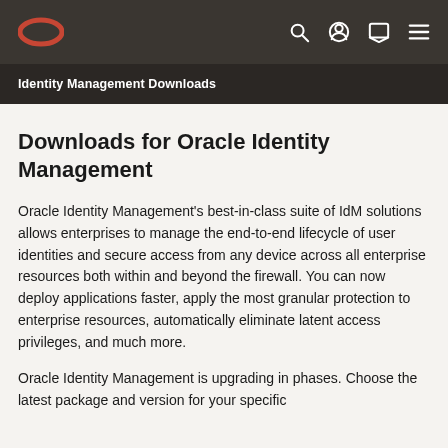Oracle logo | navigation icons
Identity Management Downloads
Downloads for Oracle Identity Management
Oracle Identity Management's best-in-class suite of IdM solutions allows enterprises to manage the end-to-end lifecycle of user identities and secure access from any device across all enterprise resources both within and beyond the firewall. You can now deploy applications faster, apply the most granular protection to enterprise resources, automatically eliminate latent access privileges, and much more.
Oracle Identity Management is upgrading in phases. Choose the latest package and version for your specific